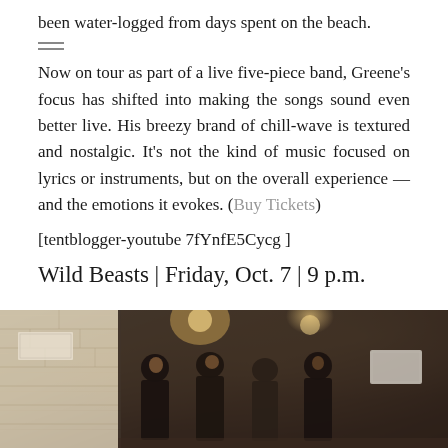been water-logged from days spent on the beach.
Now on tour as part of a live five-piece band, Greene's focus has shifted into making the songs sound even better live. His breezy brand of chill-wave is textured and nostalgic. It's not the kind of music focused on lyrics or instruments, but on the overall experience — and the emotions it evokes. (Buy Tickets)
[tentblogger-youtube 7fYnfE5Cycg ]
Wild Beasts | Friday, Oct. 7 | 9 p.m.
[Figure (photo): Black and white / warm-toned photograph of several young men standing together in what appears to be an urban setting at night, with a brick wall visible on the left side.]